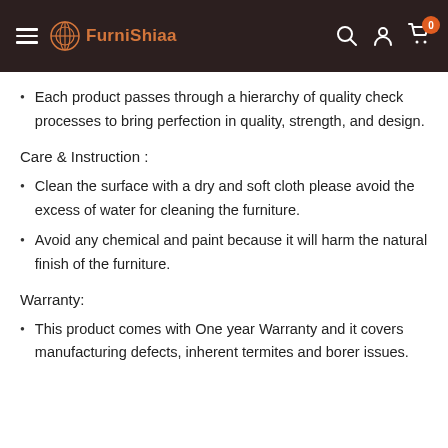FurniShiaa
Each product passes through a hierarchy of quality check processes to bring perfection in quality, strength, and design.
Care & Instruction :
Clean the surface with a dry and soft cloth please avoid the excess of water for cleaning the furniture.
Avoid any chemical and paint because it will harm the natural finish of the furniture.
Warranty:
This product comes with One year Warranty and it covers manufacturing defects, inherent termites and borer issues.